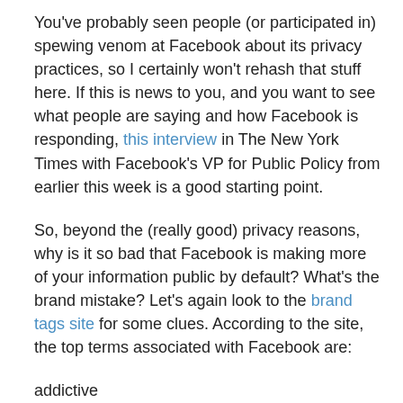You've probably seen people (or participated in) spewing venom at Facebook about its privacy practices, so I certainly won't rehash that stuff here. If this is news to you, and you want to see what people are saying and how Facebook is responding, this interview in The New York Times with Facebook's VP for Public Policy from earlier this week is a good starting point.
So, beyond the (really good) privacy reasons, why is it so bad that Facebook is making more of your information public by default? What's the brand mistake? Let's again look to the brand tags site for some clues. According to the site, the top terms associated with Facebook are:
addictive
annoying
boring